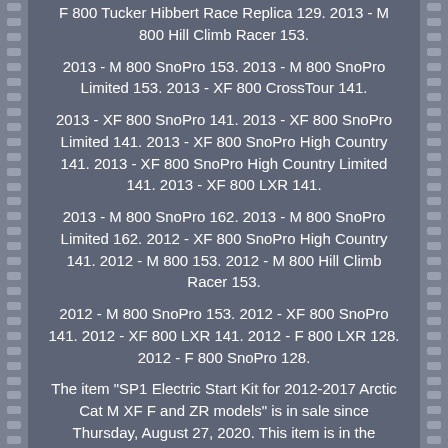F 800 Tucker Hibbert Race Replica 129. 2013 - M 800 Hill Climb Racer 153.
2013 - M 800 SnoPro 153. 2013 - M 800 SnoPro Limited 153. 2013 - XF 800 CrossTour 141.
2013 - XF 800 SnoPro 141. 2013 - XF 800 SnoPro Limited 141. 2013 - XF 800 SnoPro High Country 141. 2013 - XF 800 SnoPro High Country Limited 141. 2013 - XF 800 LXR 141.
2013 - M 800 SnoPro 162. 2013 - M 800 SnoPro Limited 162. 2012 - XF 800 SnoPro High Country 141. 2012 - M 800 153. 2012 - M 800 Hill Climb Racer 153.
2012 - M 800 SnoPro 153. 2012 - XF 800 SnoPro 141. 2012 - XF 800 LXR 141. 2012 - F 800 LXR 128. 2012 - F 800 SnoPro 128.
The item "SP1 Electric Start Kit for 2012-2017 Arctic Cat M XF F and ZR models" is in sale since Thursday, August 27, 2020. This item is in the